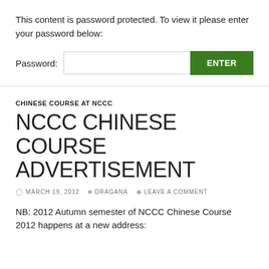This content is password protected. To view it please enter your password below:
Password: [input field] ENTER
CHINESE COURSE AT NCCC
NCCC CHINESE COURSE ADVERTISEMENT
MARCH 19, 2012  DRAGANA  LEAVE A COMMENT
NB: 2012 Autumn semester of NCCC Chinese Course 2012 happens at a new address: